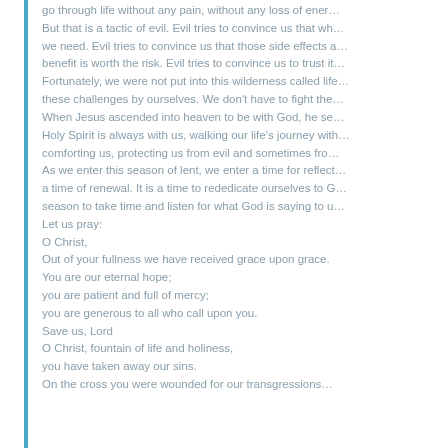go through life without any pain, without any loss of energy. But that is a tactic of evil. Evil tries to convince us that what we need. Evil tries to convince us that those side effects a benefit is worth the risk. Evil tries to convince us to trust it. Fortunately, we were not put into this wilderness called life these challenges by ourselves. We don't have to fight the When Jesus ascended into heaven to be with God, he se Holy Spirit is always with us, walking our life's journey with comforting us, protecting us from evil and sometimes fro As we enter this season of lent, we enter a time for reflect a time of renewal. It is a time to rededicate ourselves to G season to take time and listen for what God is saying to u Let us pray: O Christ, Out of your fullness we have received grace upon grace. You are our eternal hope; you are patient and full of mercy; you are generous to all who call upon you. Save us, Lord O Christ, fountain of life and holiness, you have taken away our sins. On the cross you were wounded for our transgressions